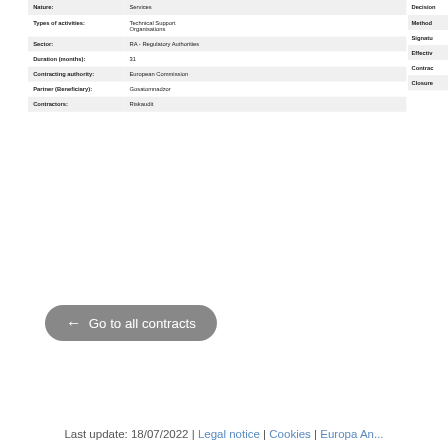| Field | Value |
| --- | --- |
| Nature: | Services |
| Types of activities: | Technical Support Organisations |
| Sector: | RA - Regulatory Authorities |
| Duration (months): | 31 |
| Contracting authority: | European Commission |
| Partner (Beneficiary): | Gosatomnadzor |
| Contractors: | Riskaudit |
Decision
Method
Signature
Effective
Contract
Closure
← Go to all contracts
Last update: 18/07/2022 | Legal notice | Cookies | Europa An...